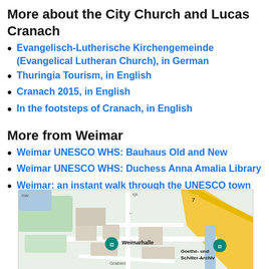More about the City Church and Lucas Cranach
Evangelisch-Lutherische Kirchengemeinde (Evangelical Lutheran Church), in German
Thuringia Tourism, in English
Cranach 2015, in English
In the footsteps of Cranach, in English
More from Weimar
Weimar UNESCO WHS: Bauhaus Old and New
Weimar UNESCO WHS: Duchess Anna Amalia Library
Weimar: an instant walk through the UNESCO town
[Figure (map): Google Maps view of Weimar showing Weimarhalle, Goethe- und Schiller-Archiv, Graben street, with road number 7 visible]